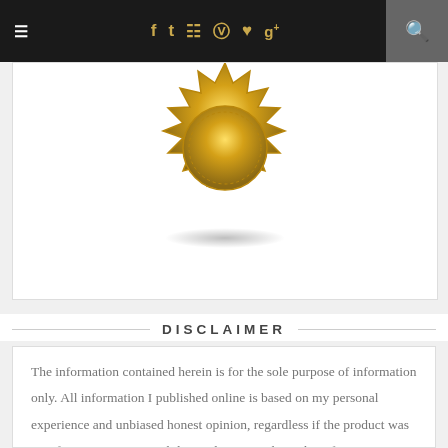≡  f  t  ☷  ℗  ♥  g+  🔍
[Figure (illustration): Partial gold seal/badge with shadow at bottom, shown against white background inside a bordered box]
DISCLAIMER
The information contained herein is for the sole purpose of information only. All information I published online is based on my personal experience and unbiased honest opinion, regardless if the product was sent for review or not. While I endeavour to keep the information up to date and correct, I make no representations of any kind about the completeness,